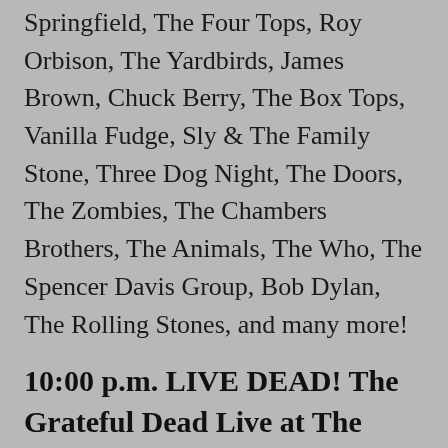Springfield, The Four Tops, Roy Orbison, The Yardbirds, James Brown, Chuck Berry, The Box Tops, Vanilla Fudge, Sly & The Family Stone, Three Dog Night, The Doors, The Zombies, The Chambers Brothers, The Animals, The Who, The Spencer Davis Group, Bob Dylan, The Rolling Stones, and many more!
10:00 p.m. LIVE DEAD! The Grateful Dead Live at The Avalon Ballroom, San Francisco, May 19, 1966
This is a rare repeat here in The Mermaid Lounge, but it hasn't been aired since right